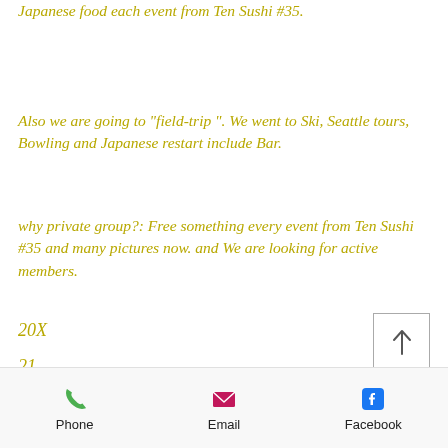Japanese food each event from Ten Sushi #35.
Also we are going to "field-trip ". We went to Ski, Seattle tours, Bowling and Japanese restart include Bar.
why private group?: Free something every event from Ten Sushi #35 and many pictures now. and We are looking for active members.
20X
21
[Figure (other): Scroll-to-top button with upward arrow icon]
Phone  Email  Facebook